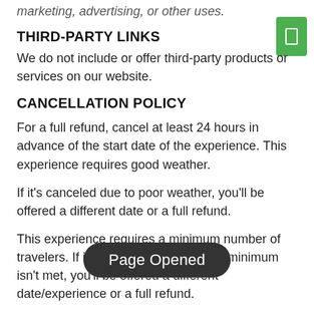marketing, advertising, or other uses.
THIRD-PARTY LINKS
We do not include or offer third-party products or services on our website.
CANCELLATION POLICY
For a full refund, cancel at least 24 hours in advance of the start date of the experience. This experience requires good weather.
If it's canceled due to poor weather, you'll be offered a different date or a full refund.
This experience requires a minimum number of travelers. If it's canceled because the minimum isn't met, you'll be offered a different date/experience or a full refund.
"No Show" Any payments or Deposits will be forfeited